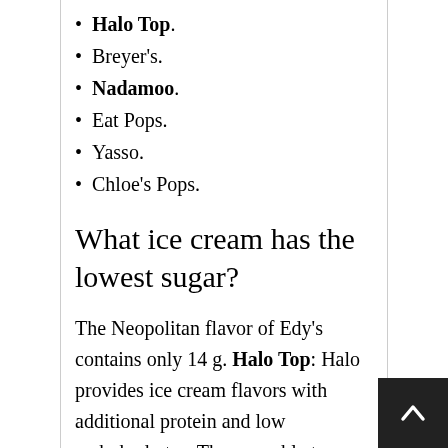Halo Top.
Breyer's.
Nadamoo.
Eat Pops.
Yasso.
Chloe's Pops.
What ice cream has the lowest sugar?
The Neopolitan flavor of Edy's contains only 14 g. Halo Top: Halo provides ice cream flavors with additional protein and low carbohydrates. They are able to use lower amounts of sugar due to the use of